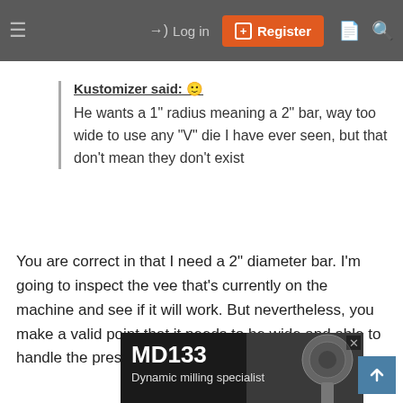Log in | Register
Kustomizer said:
He wants a 1" radius meaning a 2" bar, way too wide to use any "V" die I have ever seen, but that don't mean they don't exist
You are correct in that I need a 2" diameter bar. I'm going to inspect the vee that's currently on the machine and see if it will work. But nevertheless, you make a valid point that it needs to be wide and able to handle the pressure.
[Figure (screenshot): Advertisement banner for MD133 Dynamic milling specialist product showing milling tools]